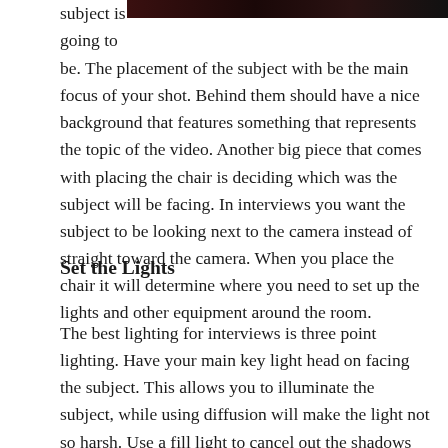[Figure (photo): Partial dark/red image visible at top right of page, cropped]
subject is going to be. The placement of the subject with be the main focus of your shot. Behind them should have a nice background that features something that represents the topic of the video. Another big piece that comes with placing the chair is deciding which was the subject will be facing. In interviews you want the subject to be looking next to the camera instead of straight toward the camera. When you place the chair it will determine where you need to set up the lights and other equipment around the room.
Set the Lights
The best lighting for interviews is three point lighting. Have your main key light head on facing the subject. This allows you to illuminate the subject, while using diffusion will make the light not so harsh. Use a fill light to cancel out the shadows that the key light may be casting. Shadows can be